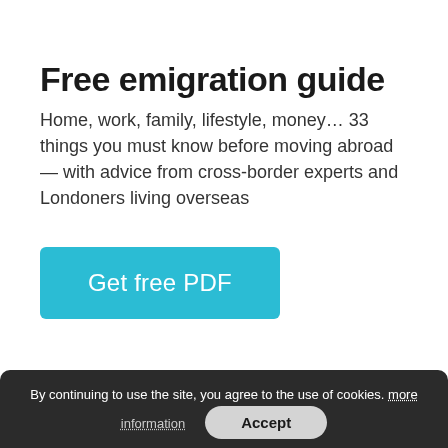Free emigration guide
Home, work, family, lifestyle, money… 33 things you must know before moving abroad — with advice from cross-border experts and Londoners living overseas
[Figure (other): Cyan/teal button with text 'Get free PDF']
By continuing to use the site, you agree to the use of cookies. more information  Accept